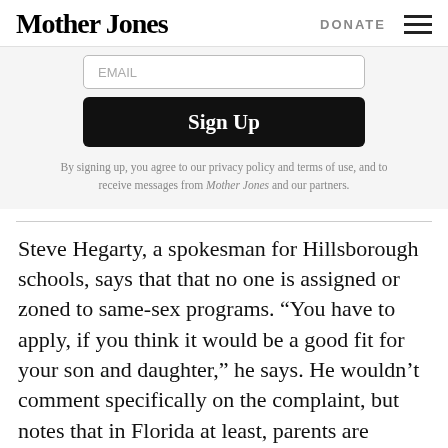Mother Jones  DONATE
[Figure (screenshot): Email input field with placeholder text 'EMAIL']
[Figure (screenshot): Black 'Sign Up' button]
By signing up, you agree to our privacy policy and terms of use, and to receive messages from Mother Jones and our partners.
Steve Hegarty, a spokesman for Hillsborough schools, says that that no one is assigned or zoned to same-sex programs. "You have to apply, if you think it would be a good fit for your son and daughter," he says. He wouldn't comment specifically on the complaint, but notes that in Florida at least, parents are enthusiastic about the programs: "They seem to